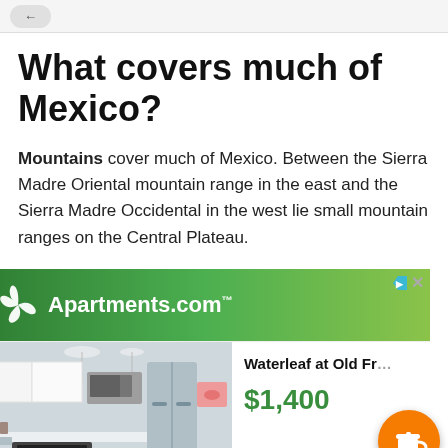What covers much of Mexico?
Mountains cover much of Mexico. Between the Sierra Madre Oriental mountain range in the east and the Sierra Madre Occidental in the west lie small mountain ranges on the Central Plateau.
[Figure (other): Apartments.com advertisement banner with green gradient background and white logo]
[Figure (photo): Interior photo of a modern apartment kitchen with white cabinets and stainless steel appliances]
Waterleaf at Old Fr...
$1,400